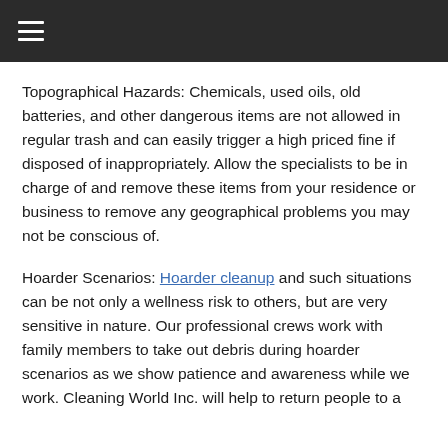≡
Topographical Hazards: Chemicals, used oils, old batteries, and other dangerous items are not allowed in regular trash and can easily trigger a high priced fine if disposed of inappropriately. Allow the specialists to be in charge of and remove these items from your residence or business to remove any geographical problems you may not be conscious of.
Hoarder Scenarios: Hoarder cleanup and such situations can be not only a wellness risk to others, but are very sensitive in nature. Our professional crews work with family members to take out debris during hoarder scenarios as we show patience and awareness while we work. Cleaning World Inc. will help to return people to a